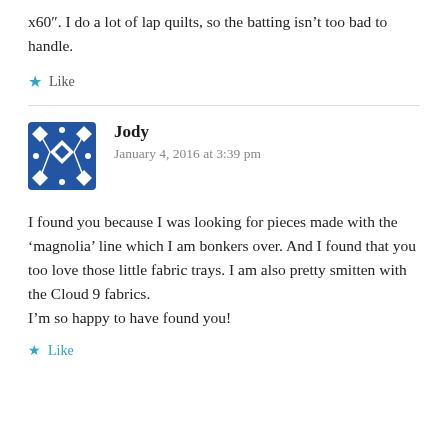x60". I do a lot of lap quilts, so the batting isn't too bad to handle.
Like
Jody
January 4, 2016 at 3:39 pm
[Figure (illustration): Blue quilt-pattern avatar icon with white star/diamond pattern on dark blue background]
I found you because I was looking for pieces made with the 'magnolia' line which I am bonkers over. And I found that you too love those little fabric trays. I am also pretty smitten with the Cloud 9 fabrics.
I'm so happy to have found you!
Like